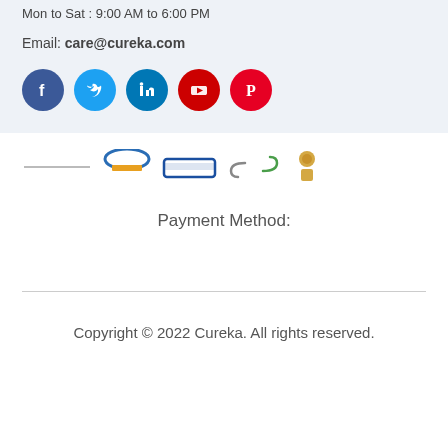Mon to Sat : 9:00 AM to 6:00 PM
Email: care@cureka.com
[Figure (illustration): Social media icons: Facebook (dark blue), Twitter (light blue), LinkedIn (dark blue), YouTube (red), Pinterest (red)]
[Figure (illustration): Payment method logos: various brand logos including pharmacy/health brands]
Payment Method:
Copyright © 2022 Cureka. All rights reserved.